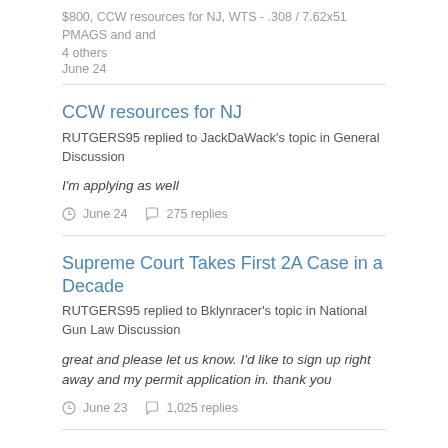$800, CCW resources for NJ, WTS - .308 / 7.62x51 PMAGS and and 4 others
June 24
CCW resources for NJ
RUTGERS95 replied to JackDaWack's topic in General Discussion
I'm applying as well
June 24    275 replies
Supreme Court Takes First 2A Case in a Decade
RUTGERS95 replied to Bklynracer's topic in National Gun Law Discussion
great and please let us know. I'd like to sign up right away and my permit application in. thank you
June 23    1,025 replies